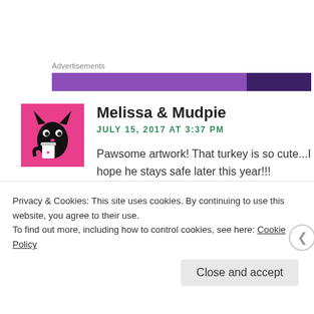Advertisements
[Figure (other): Purple advertisement banner bar]
Melissa & Mudpie
JULY 15, 2017 AT 3:37 PM
Pawsome artwork! That turkey is so cute...I hope he stays safe later this year!!!
Like
Privacy & Cookies: This site uses cookies. By continuing to use this website, you agree to their use.
To find out more, including how to control cookies, see here: Cookie Policy
Close and accept